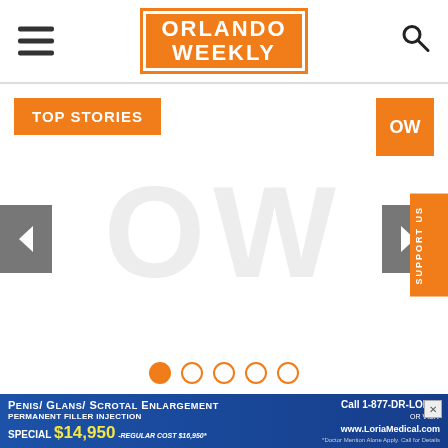Orlando Weekly
[Figure (screenshot): Orlando Weekly website homepage screenshot showing TOP STORIES carousel with OW badge, navigation arrows, and dot pagination indicators]
THINGS TO DO IN ORLANDO: MAXWELL, THE LUMINEERS. SANDWICH WEEK. THE 85
[Figure (infographic): Advertisement banner for Penis/Glans/Scrotal Enlargement - Permanent Filler Injection. Special $14,950. Regular Cost $16,950. Call 1-877-DR-LORIA or visit www.LoriaMedical.com]